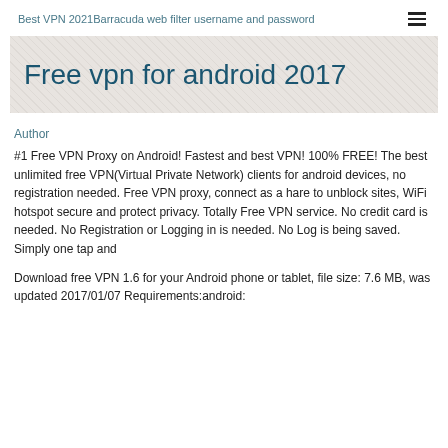Best VPN 2021Barracuda web filter username and password
Free vpn for android 2017
Author
#1 Free VPN Proxy on Android! Fastest and best VPN! 100% FREE! The best unlimited free VPN(Virtual Private Network) clients for android devices, no registration needed. Free VPN proxy, connect as a hare to unblock sites, WiFi hotspot secure and protect privacy. Totally Free VPN service. No credit card is needed. No Registration or Logging in is needed. No Log is being saved. Simply one tap and
Download free VPN 1.6 for your Android phone or tablet, file size: 7.6 MB, was updated 2017/01/07 Requirements:android: